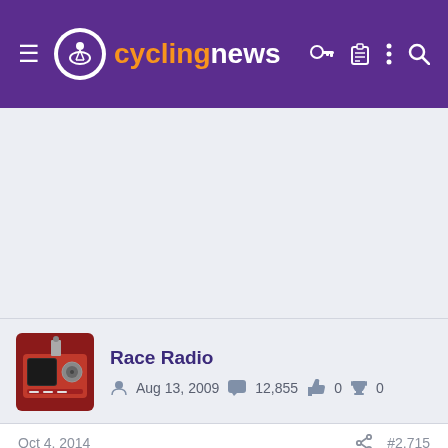cyclingnews
[Figure (other): Advertisement banner area (blank/gray)]
Race Radio
Aug 13, 2009  12,855  0  0
Oct 4, 2014  #2,715
[Figure (other): Advertisement: Dickies® | Official Site | Workwear & Apparel — for work pants, work shirts, overalls, and coveralls. www.dickies.com]